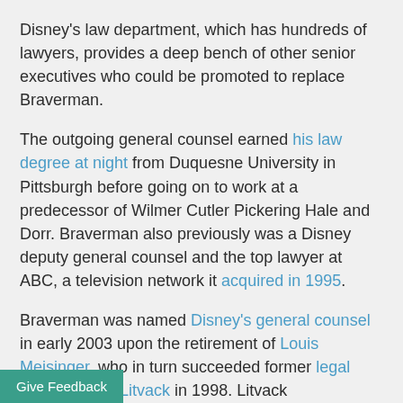Disney's law department, which has hundreds of lawyers, provides a deep bench of other senior executives who could be promoted to replace Braverman.
The outgoing general counsel earned his law degree at night from Duquesne University in Pittsburgh before going on to work at a predecessor of Wilmer Cutler Pickering Hale and Dorr. Braverman also previously was a Disney deputy general counsel and the top lawyer at ABC, a television network it acquired in 1995.
Braverman was named Disney's general counsel in early 2003 upon the retirement of Louis Meisinger, who in turn succeeded former legal chief Sanford Litvack in 1998. Litvack subsequently was promoted to executive vice president at Disney before leaving the company in 2000, returning to a career in private practice.
Give Feedback